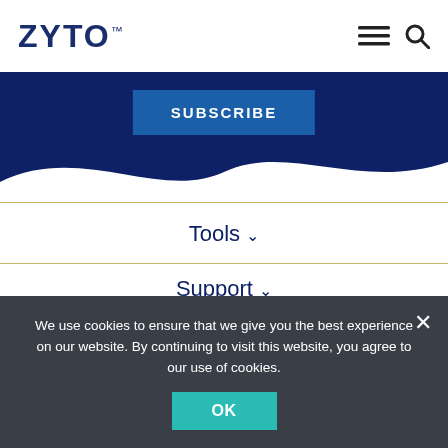ZYTO
[Figure (screenshot): ZYTO website navigation screenshot with logo, hamburger menu, search icon, subscribe button, wave banner, nav items (Tools, Support, Company, Contact Us), and cookie consent bar]
Tools
Support
Company
Contact Us
We use cookies to ensure that we give you the best experience on our website. By continuing to visit this website, you agree to our use of cookies.